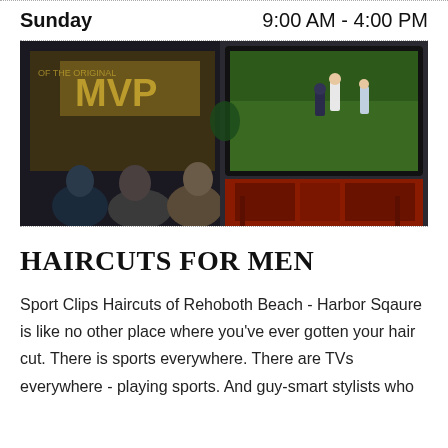Sunday    9:00 AM - 4:00 PM
[Figure (photo): Three men sitting and watching a large TV screen showing a baseball game, with an MVP sports poster visible in the background on the left side.]
HAIRCUTS FOR MEN
Sport Clips Haircuts of Rehoboth Beach - Harbor Sqaure is like no other place where you've ever gotten your hair cut. There is sports everywhere. There are TVs everywhere - playing sports. And guy-smart stylists who